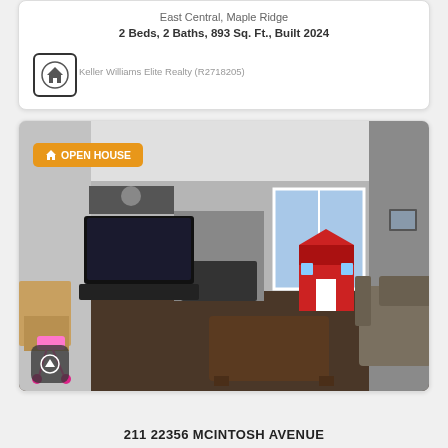East Central, Maple Ridge
2 Beds, 2 Baths, 893 Sq. Ft., Built 2024
Keller Williams Elite Realty (R2718205)
[Figure (photo): Interior living room photo of a residential property showing a TV on the wall, fireplace, coffee table, sofa, and a red children's playhouse. An OPEN HOUSE badge overlays the top-left of the image.]
211 22356 MCINTOSH AVENUE